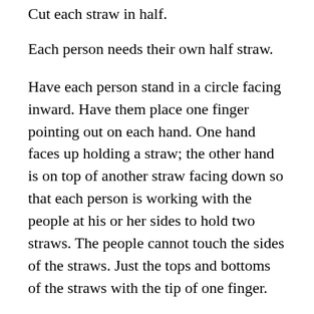Cut each straw in half.
Each person needs their own half straw.
Have each person stand in a circle facing inward. Have them place one finger pointing out on each hand. One hand faces up holding a straw; the other hand is on top of another straw facing down so that each person is working with the people at his or her sides to hold two straws. The people cannot touch the sides of the straws. Just the tops and bottoms of the straws with the tip of one finger.
Explain to your family that you are scientists that work in a lab. The lab stores nitroglycerin in test tubes (your straws.) While someone was walking through the lab, they tripped and all the test tubes